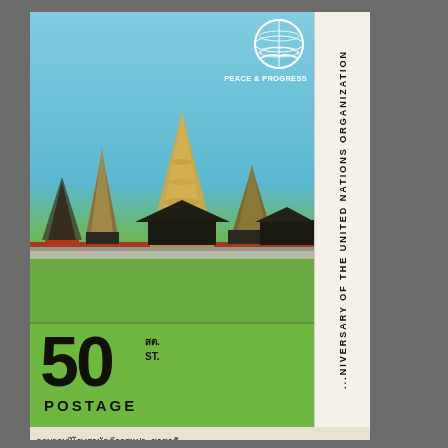[Figure (photo): Thai postage stamp depicting the Grand Palace (Wat Phra Kaew) in Bangkok with golden chedis and traditional Thai rooftops against a blue sky, with green grass in foreground. Features UN emblem and text 'PEACE & PROGRESS'. Denomination: 50 ST. POSTAGE. Right side vertical text reads '...NIVERSARY OF THE UNITED NATIONS ORGANIZATION'. Bottom has Thai script text.]